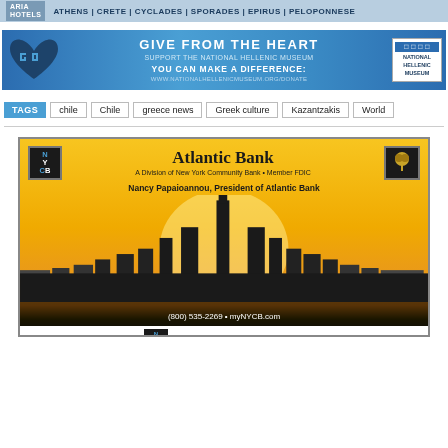ARIA HOTELS | ATHENS | CRETE | CYCLADES | SPORADES | EPIRUS | PELOPONNESE
[Figure (infographic): National Hellenic Museum 'Give From The Heart' donation banner with heart and Greek meander logo, text: GIVE FROM THE HEART, SUPPORT THE NATIONAL HELLENIC MUSEUM, YOU CAN MAKE A DIFFERENCE: WWW.NATIONALHELLENICMUSEUM.ORG/DONATE]
TAGS: chile | Chile | greece news | Greek culture | Kazantzakis | World
[Figure (infographic): Atlantic Bank advertisement. A Division of New York Community Bank, Member FDIC. Nancy Papaioannou, President of Atlantic Bank. New York City skyline silhouette. (800) 535-2269 • myNYCB.com. Now Your COMMUNITY Bank.]